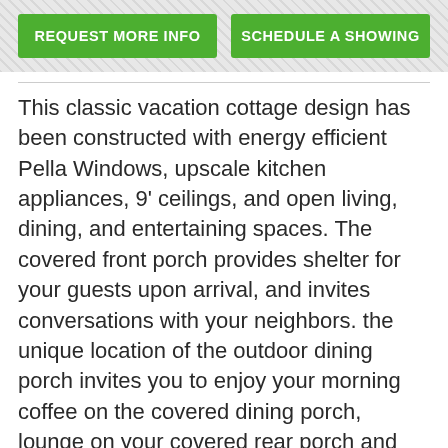[Figure (other): Two green call-to-action buttons: REQUEST MORE INFO and SCHEDULE A SHOWING on a hatched grey background banner]
This classic vacation cottage design has been constructed with energy efficient Pella Windows, upscale kitchen appliances, 9' ceilings, and open living, dining, and entertaining spaces. The covered front porch provides shelter for your guests upon arrival, and invites conversations with your neighbors. the unique location of the outdoor dining porch invites you to enjoy your morning coffee on the covered dining porch, lounge on your covered rear porch and watch the family enjoy the Pelican Landing Swim Club right